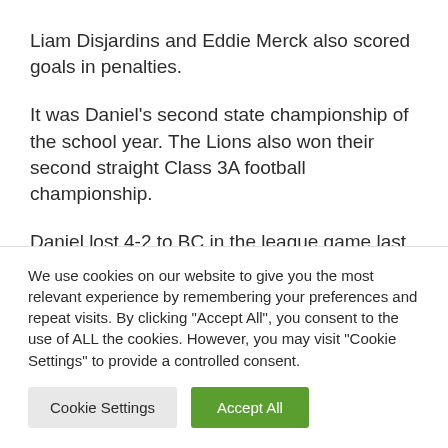Liam Disjardins and Eddie Merck also scored goals in penalties.
It was Daniel's second state championship of the school year. The Lions also won their second straight Class 3A football championship.
Daniel lost 4-2 to BC in the league game last
We use cookies on our website to give you the most relevant experience by remembering your preferences and repeat visits. By clicking "Accept All", you consent to the use of ALL the cookies. However, you may visit "Cookie Settings" to provide a controlled consent.